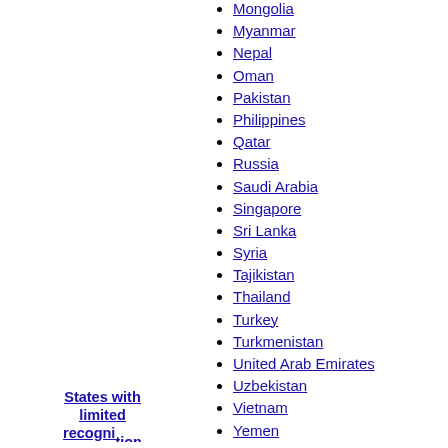Mongolia
Myanmar
Nepal
Oman
Pakistan
Philippines
Qatar
Russia
Saudi Arabia
Singapore
Sri Lanka
Syria
Tajikistan
Thailand
Turkey
Turkmenistan
United Arab Emirates
Uzbekistan
Vietnam
Yemen
Abkhazia
Artsakh
Northern Cyprus
Palestine
South Ossetia
States with limited recognition